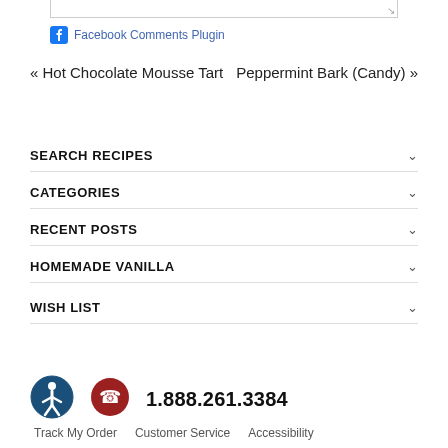[Figure (screenshot): Partial textarea input box at top of page]
Facebook Comments Plugin
« Hot Chocolate Mousse Tart
Peppermint Bark (Candy) »
SEARCH RECIPES
CATEGORIES
RECENT POSTS
HOMEMADE VANILLA
WISH LIST
[Figure (logo): Accessibility icon (blue circle with person figure)]
[Figure (logo): Red phone icon circle]
1.888.261.3384
Track My Order   Customer Service   Accessibility